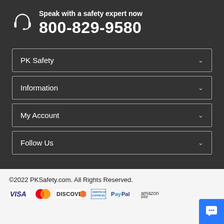Speak with a safety expert now
800-829-9580
PK Safety
Information
My Account
Follow Us
©2022 PKSafety.com. All Rights Reserved.
[Figure (logo): Payment logos: VISA, Mastercard, DISCOVER, American Express, PayPal, amazon pay]
[Figure (illustration): Blue chat button with speech bubble icon]